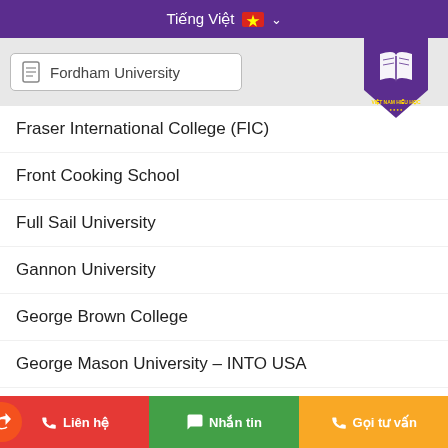Tiếng Việt ∨
Fordham University
[Figure (logo): Việt Nam Học logo - purple shield with white open book icon and text Việt Nam Hiếu Học]
Fraser International College (FIC)
Front Cooking School
Full Sail University
Gannon University
George Brown College
George Mason University – INTO USA
George Washington University
Liên hệ   Nhắn tin   Gọi tư vấn